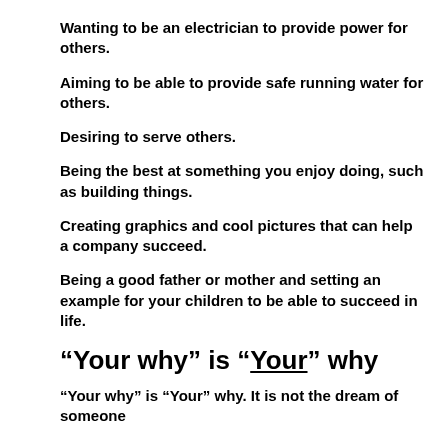Wanting to be an electrician to provide power for others.
Aiming to be able to provide safe running water for others.
Desiring to serve others.
Being the best at something you enjoy doing, such as building things.
Creating graphics and cool pictures that can help a company succeed.
Being a good father or mother and setting an example for your children to be able to succeed in life.
“Your why” is “Your” why
“Your why” is “Your” why. It is not the dream of someone